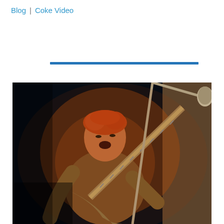Blog | Coke Video
[Figure (other): A horizontal blue rule / divider bar]
[Figure (photo): A male guitarist performing on stage, leaning intensely over his electric guitar near a microphone stand, mouth open, with reddish-orange hair and a dark background behind him. The performer appears to be playing with great energy.]